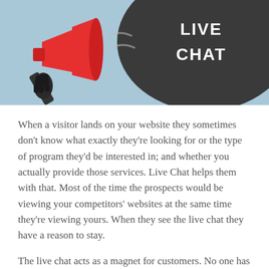[Figure (illustration): Banner image with light blue background showing a megaphone/bullhorn on the left and a dark circular badge on the right with 'LIVE CHAT' text in white bold letters]
When a visitor lands on your website they sometimes don't know what exactly they're looking for or the type of program they'd be interested in; and whether you actually provide those services. Live Chat helps them with that. Most of the time the prospects would be viewing your competitors' websites at the same time they're viewing yours. When they see the live chat they have a reason to stay.
The live chat acts as a magnet for customers. No one has that much time to view the full content of a website to figure out that you offer what they're looking for. Depending on the page they land on they would only spend a few seconds on it to see if it offers what they're looking for, if they don't see it they move